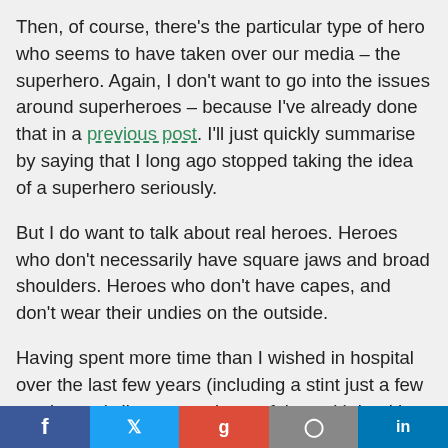Then, of course, there's the particular type of hero who seems to have taken over our media – the superhero. Again, I don't want to go into the issues around superheroes – because I've already done that in a previous post. I'll just quickly summarise by saying that I long ago stopped taking the idea of a superhero seriously.
But I do want to talk about real heroes. Heroes who don't necessarily have square jaws and broad shoulders. Heroes who don't have capes, and don't wear their undies on the outside.
Having spent more time than I wished in hospital over the last few years (including a stint just a few weeks ago), I've spent plenty of time with health care professionals, particularly nurses. I'm in absolute awe at the work they do and the care they give people. I'm not a particularly easy patient to treat, having a very deep fear of needles and blood and medical procedures. And yet, no matter
Social share bar: Facebook, Twitter, Google+, Unknown, LinkedIn